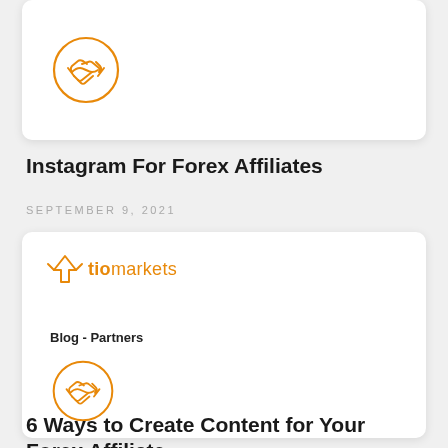[Figure (illustration): White card with handshake icon in orange circle (partial, top of page)]
Instagram For Forex Affiliates
SEPTEMBER 9, 2021
[Figure (logo): TioMarkets logo with orange trident/arrow icon and text 'tiomarkets', with 'Blog - Partners' subtitle and handshake icon in orange circle]
6 Ways to Create Content for Your Forex Affiliate